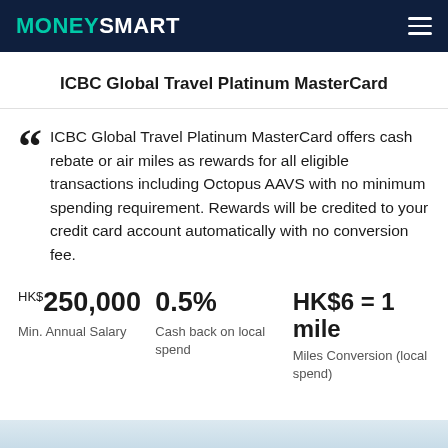MONEYSMART
ICBC Global Travel Platinum MasterCard
ICBC Global Travel Platinum MasterCard offers cash rebate or air miles as rewards for all eligible transactions including Octopus AAVS with no minimum spending requirement. Rewards will be credited to your credit card account automatically with no conversion fee.
HK$250,000 Min. Annual Salary
0.5% Cash back on local spend
HK$6 = 1 mile Miles Conversion (local spend)